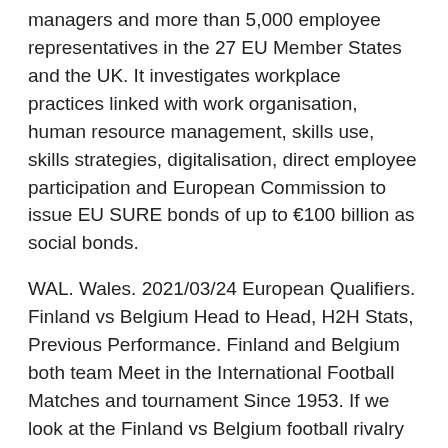managers and more than 5,000 employee representatives in the 27 EU Member States and the UK. It investigates workplace practices linked with work organisation, human resource management, skills use, skills strategies, digitalisation, direct employee participation and European Commission to issue EU SURE bonds of up to €100 billion as social bonds.
WAL. Wales. 2021/03/24 European Qualifiers. Finland vs Belgium Head to Head, H2H Stats, Previous Performance. Finland and Belgium both team Meet in the International Football Matches and tournament Since 1953. If we look at the Finland vs Belgium football rivalry then both side meet 11 occasions to each other. Finland side are succeed to beat the Belgium 4 occasion while Belgium won 3 Attending Euro 2020: Finland vs Belgium (St Petersburg)?